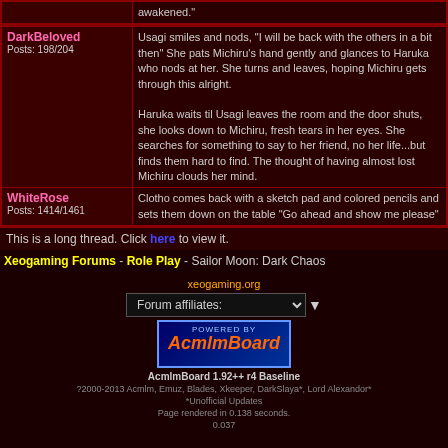| User | Post |
| --- | --- |
| (continuation) | awakened." |
| DarkBeloved
Posts: 198/204 | Usagi smiles and nods, "I will be back with the others in a bit then" She pats Michiru's hand gently and glances to Haruka who nods at her. She turns and leaves, hoping Michiru gets through this alright.

Haruka waits til Usagi leaves the room and the door shuts, she looks down to Michiru, fresh tears in her eyes. She searches for something to say to her friend, no her life...but finds them hard to find. The thought of having almost lost Michiru clouds her mind. |
| WhiteRose
Posts: 1414/1461 | Clotho comes back with a sketch pad and colored pencils and sets them down on the table "Go ahead and show me please" |
This is a long thread. Click here to view it.
Xeogaming Forums - Role Play - Sailor Moon: Dark Chaos
xeogaming.org
Forum affiliates:
[Figure (logo): Powered by AcmlmBoard logo with blue background and orange AcmlmBoard text]
AcmlmBoard 1.92++ r4 Baseline
?2000-2013 Acmlm, Emuz, Blades, Xkeeper, DarkSlaya*, Lord Alexandor*
*Unofficial Updates
Page rendered in 0.138 seconds.
0.037